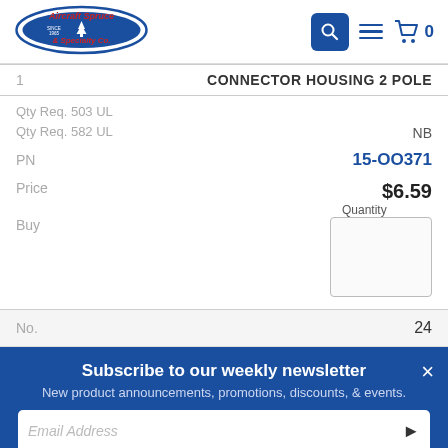[Figure (logo): Aircraft Spruce & Specialty Co. logo - oval with tree and text]
CONNECTOR HOUSING 2 POLE
Qty Req. 503 UL
Qty Req. 582 UL
NB
PN
15-OO371
Price
$6.59
Buy
Quantity
No.
24
Subscribe to our weekly newsletter
New product announcements, promotions, discounts, & events.
Email Address